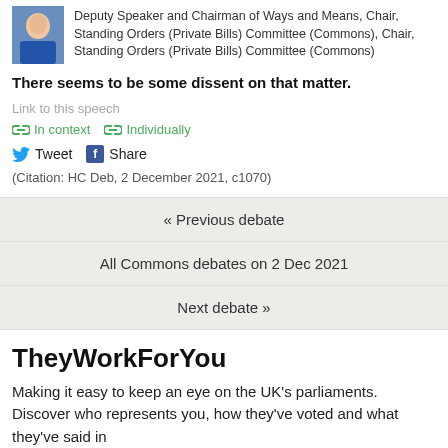Deputy Speaker and Chairman of Ways and Means, Chair, Standing Orders (Private Bills) Committee (Commons), Chair, Standing Orders (Private Bills) Committee (Commons)
There seems to be some dissent on that matter.
Link to this speech
In context   Individually
Tweet   Share
(Citation: HC Deb, 2 December 2021, c1070)
« Previous debate
All Commons debates on 2 Dec 2021
Next debate »
TheyWorkForYou
Making it easy to keep an eye on the UK's parliaments. Discover who represents you, how they've voted and what they've said in